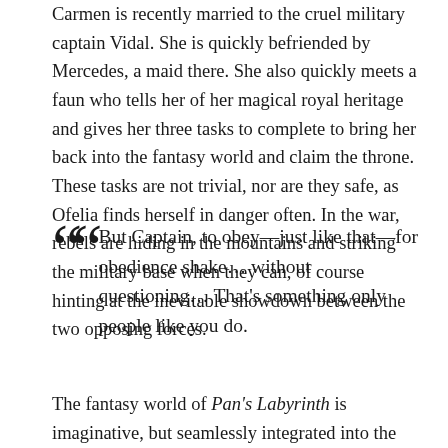Carmen is recently married to the cruel military captain Vidal. She is quickly befriended by Mercedes, a maid there. She also quickly meets a faun who tells her of her magical royal heritage and gives her three tasks to complete to bring her back into the fantasy world and claim the throne. These tasks are not trivial, nor are they safe, as Ofelia finds herself in danger often. In the war, rebels are hiding in the mountains and striking the military base when they can, of course hinting at the inevitable showdown between the two opposing forces.
But Captain, to obey—just like that—for obedience shake... without questioning... That's something only people like you do.
The fantasy world of Pan's Labyrinth is imaginative, but seamlessly integrated into the real world Ofelia inhabits.